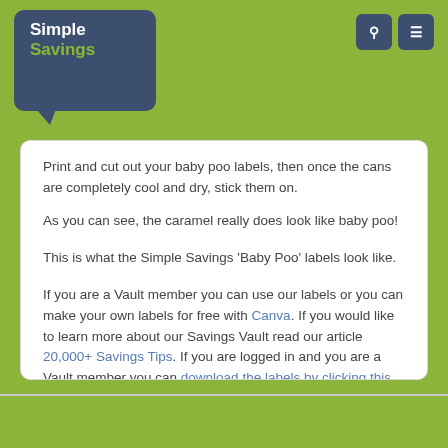Simple Savings
Print and cut out your baby poo labels, then once the cans are completely cool and dry, stick them on.
As you can see, the caramel really does look like baby poo!
This is what the Simple Savings 'Baby Poo' labels look like.
If you are a Vault member you can use our labels or you can make your own labels for free with Canva. If you would like to learn more about our Savings Vault read our article 20,000+ Savings Tips. If you are logged in and you are a Vault member you can download the labels by clicking this link.